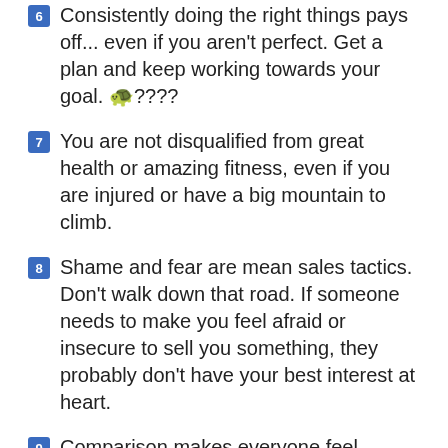6 Consistently doing the right things pays off... even if you aren't perfect. Get a plan and keep working towards your goal. 🐢????
7 You are not disqualified from great health or amazing fitness, even if you are injured or have a big mountain to climb.
8 Shame and fear are mean sales tactics. Don't walk down that road. If someone needs to make you feel afraid or insecure to sell you something, they probably don't have your best interest at heart.
9 Comparison makes everyone feel worse. Unfollow people/pages who don't build you up, teach, or challenge you.
10 Use the motivation you feel from this season to start where you are, use what you have, and to decide to make the next right choice. Panicking and going overboard